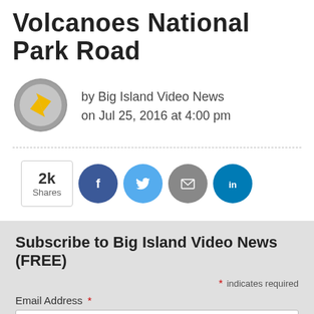Volcanoes National Park Road
by Big Island Video News
on Jul 25, 2016 at 4:00 pm
[Figure (logo): Big Island Video News logo — a circular grey emblem with a gold/yellow arrow play button shape]
2k Shares
[Figure (infographic): Social share buttons: Facebook (dark blue circle with f), Twitter (light blue circle with bird), Email (grey circle with envelope), LinkedIn (teal circle with 'in')]
Subscribe to Big Island Video News (FREE)
* indicates required
Email Address *